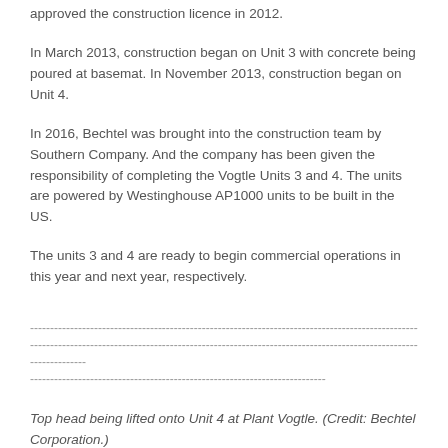approved the construction licence in 2012.
In March 2013, construction began on Unit 3 with concrete being poured at basemat. In November 2013, construction began on Unit 4.
In 2016, Bechtel was brought into the construction team by Southern Company. And the company has been given the responsibility of completing the Vogtle Units 3 and 4. The units are powered by Westinghouse AP1000 units to be built in the US.
The units 3 and 4 are ready to begin commercial operations in this year and next year, respectively.
----------------------------------------------------------------------------------------------------------------------------------------------------------------------------------------------------------------
Top head being lifted onto Unit 4 at Plant Vogtle. (Credit: Bechtel Corporation.)